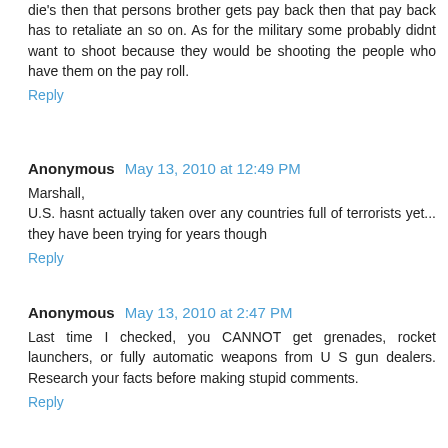die's then that persons brother gets pay back then that pay back has to retaliate an so on. As for the military some probably didnt want to shoot because they would be shooting the people who have them on the pay roll.
Reply
Anonymous  May 13, 2010 at 12:49 PM
Marshall,
U.S. hasnt actually taken over any countries full of terrorists yet... they have been trying for years though
Reply
Anonymous  May 13, 2010 at 2:47 PM
Last time I checked, you CANNOT get grenades, rocket launchers, or fully automatic weapons from U S gun dealers. Research your facts before making stupid comments.
Reply